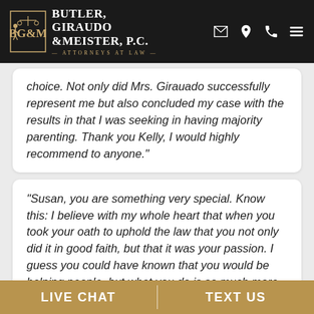Butler, Giraudo & Meister, P.C. — Attorneys at Law
choice. Not only did Mrs. Girauado successfully represent me but also concluded my case with the results in that I was seeking in having majority parenting. Thank you Kelly, I would highly recommend to anyone."
"Susan, you are something very special. Know this: I believe with my whole heart that when you took your oath to uphold the law that you not only did it in good faith, but that it was your passion. I guess you could have known that you would be helping people, but what you do is so much more than that. All those days and nights
LIVE CHAT | TEXT US